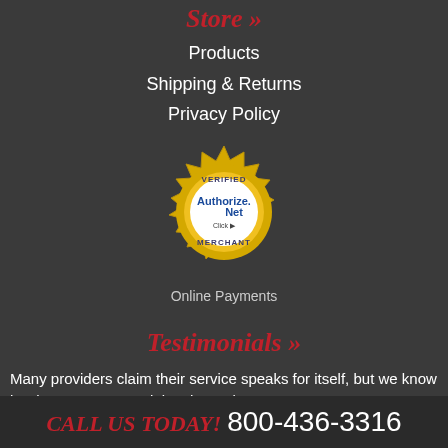Store »
Products
Shipping & Returns
Privacy Policy
[Figure (logo): Authorize.Net Verified Merchant seal with golden gear border, white center circle, blue Authorize.Net text, Click arrow, and VERIFIED MERCHANT text]
Online Payments
Testimonials »
Many providers claim their service speaks for itself, but we know it's the customer's opinion that truly matters. Visit Our Testimonials
CALL US TODAY! 800-436-3316